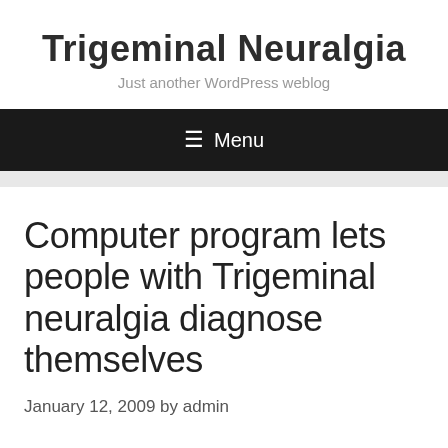Trigeminal Neuralgia
Just another WordPress weblog
≡ Menu
Computer program lets people with Trigeminal neuralgia diagnose themselves
January 12, 2009 by admin